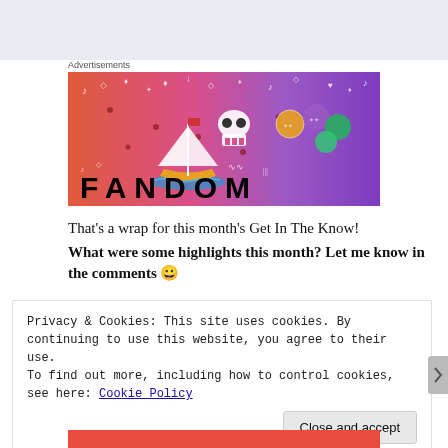Advertisements
[Figure (illustration): Fandom advertisement banner with gradient background from orange-red to purple, featuring a sailboat, skull, colorful dice/orbs, scattered doodles, and FANDOM text in large bold letters]
That's a wrap for this month's Get In The Know!
What were some highlights this month? Let me know in the comments 😀
Privacy & Cookies: This site uses cookies. By continuing to use this website, you agree to their use.
To find out more, including how to control cookies, see here: Cookie Policy
Close and accept